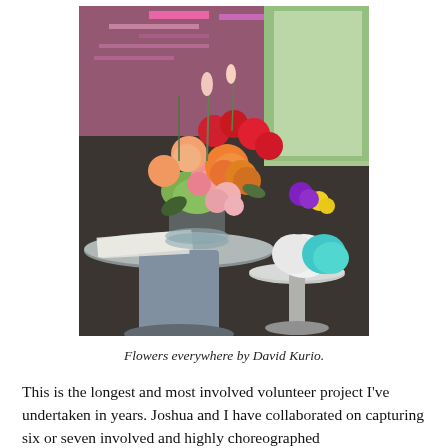[Figure (photo): A photograph of a colorful floral arrangement in a glass vase on a round cocktail table, with another small round table beside it holding white and teal fluffy decorations. Background shows a window with trees and a pink-lit wall with papers.]
Flowers everywhere by David Kurio.
This is the longest and most involved volunteer project I've undertaken in years. Joshua and I have collaborated on capturing six or seven involved and highly choreographed